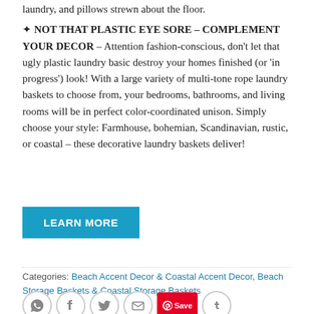laundry, and pillows strewn about the floor.
✦ NOT THAT PLASTIC EYE SORE – COMPLEMENT YOUR DECOR – Attention fashion-conscious, don't let that ugly plastic laundry basic destroy your homes finished (or 'in progress') look! With a large variety of multi-tone rope laundry baskets to choose from, your bedrooms, bathrooms, and living rooms will be in perfect color-coordinated unison. Simply choose your style: Farmhouse, bohemian, Scandinavian, rustic, or coastal – these decorative laundry baskets deliver!
[Figure (other): LEARN MORE button in teal/blue color]
Categories: Beach Accent Decor & Coastal Accent Decor, Beach Storage Baskets & Coastal Storage Baskets
[Figure (other): Social sharing icons: WhatsApp, Facebook, Twitter, Email, Pinterest Save, Tumblr]